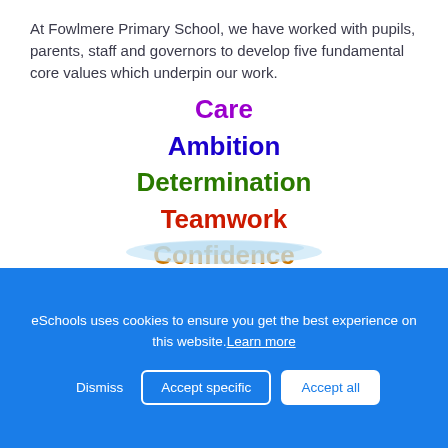At Fowlmere Primary School, we have worked with pupils, parents, staff and governors to develop five fundamental core values which underpin our work.
Care
Ambition
Determination
Teamwork
Confidence
We are committed to encouraging, developing and rewarding these core values in all our pupils, staff and governors.
[Figure (illustration): Light blue swoosh/wave decorative graphic element]
eSchools uses cookies to ensure you get the best experience on this website. Learn more
Dismiss | Accept specific | Accept all